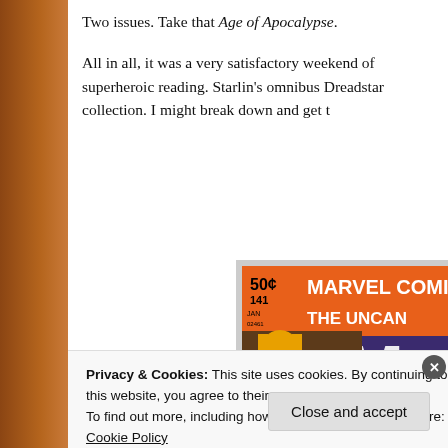Two issues. Take that Age of Apocalypse.
All in all, it was a very satisfactory weekend of superheroic reading. Starlin's omnibus Dreadstar collection. I might break down and get t
[Figure (photo): Cover of Uncanny X-Men #141, Marvel Comics Group, 50 cents, Jan issue. Shows X-Men characters with 'APPREHENDED' and 'SLAIN' labels overlaid on character mugshots.]
Privacy & Cookies: This site uses cookies. By continuing to use this website, you agree to their use.
To find out more, including how to control cookies, see here: Cookie Policy
Close and accept